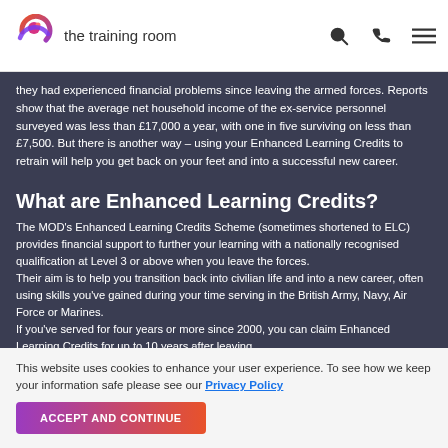the training room
they had experienced financial problems since leaving the armed forces. Reports show that the average net household income of the ex-service personnel surveyed was less than £17,000 a year, with one in five surviving on less than £7,500. But there is another way – using your Enhanced Learning Credits to retrain will help you get back on your feet and into a successful new career.
What are Enhanced Learning Credits?
The MOD's Enhanced Learning Credits Scheme (sometimes shortened to ELC) provides financial support to further your learning with a nationally recognised qualification at Level 3 or above when you leave the forces. Their aim is to help you transition back into civilian life and into a new career, often using skills you've gained during your time serving in the British Army, Navy, Air Force or Marines. If you've served for four years or more since 2000, you can claim Enhanced Learning Credits for up to 10 years after leaving. If you haven't served the minimum of four years as you were Wounded, Injured or Sick (WIS) or medically discharged, it's worth checking as you may
This website uses cookies to enhance your user experience. To see how we keep your information safe please see our Privacy Policy
ACCEPT AND CONTINUE